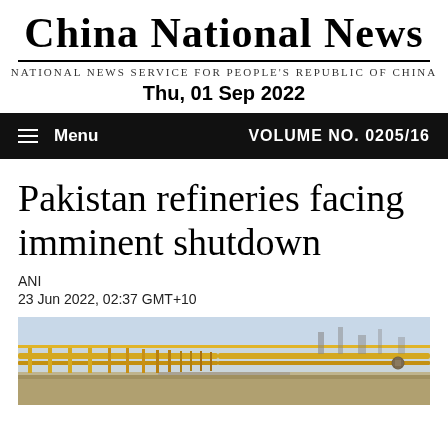China National News
National news service for People's Republic of China
Thu, 01 Sep 2022
Menu  VOLUME NO. 0205/16
Pakistan refineries facing imminent shutdown
ANI
23 Jun 2022, 02:37 GMT+10
[Figure (photo): Industrial refinery pipelines with yellow railings running along a road, sky visible in background]